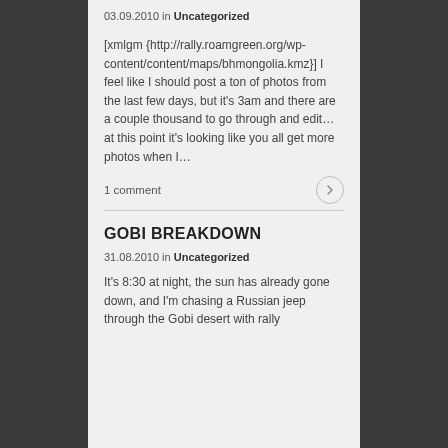03.09.2010 in Uncategorized
[xmlgm {http://rally.roamgreen.org/wp-content/content/maps/bhmongolia.kmz}] I feel like I should post a ton of photos from the last few days, but it's 3am and there are a couple thousand to go through and edit… at this point it's looking like you all get more photos when I…
1 comment
GOBI BREAKDOWN
31.08.2010 in Uncategorized
It's 8:30 at night, the sun has already gone down, and I'm chasing a Russian jeep through the Gobi desert with rally